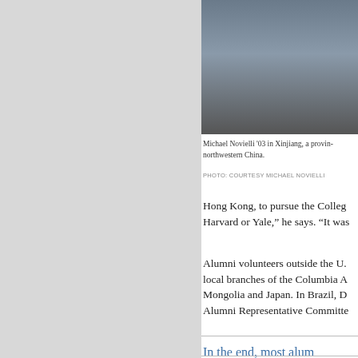[Figure (photo): Photo of Michael Novielli in Xinjiang, northwestern China — partial view showing legs/feet of people standing on a wooden deck or platform]
Michael Novielli '03 in Xinjiang, a province in northwestern China.
PHOTO: COURTESY MICHAEL NOVIELLI
Hong Kong, to pursue the College. Harvard or Yale,” he says. “It was
Alumni volunteers outside the U. local branches of the Columbia A Mongolia and Japan. In Brazil, D Alumni Representative Committe
In the end, most alum